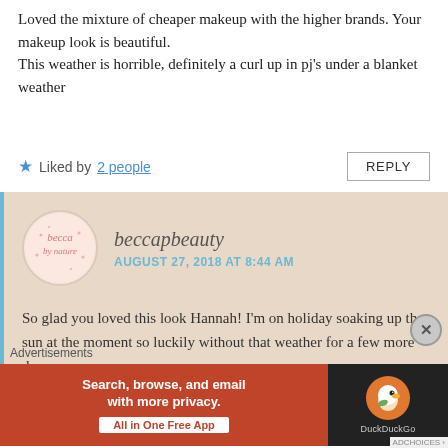Loved the mixture of cheaper makeup with the higher brands. Your makeup look is beautiful.
This weather is horrible, definitely a curl up in pj's under a blanket weather
★ Liked by 2 people   REPLY
beccapbeauty
AUGUST 27, 2018 AT 8:44 AM
So glad you loved this look Hannah! I'm on holiday soaking up the sun at the moment so luckily without that weather for a few more days x
Like
[Figure (screenshot): DuckDuckGo advertisement banner: orange left panel with 'Search, browse, and email with more privacy. All in One Free App' and dark right panel with DuckDuckGo logo.]
Advertisements